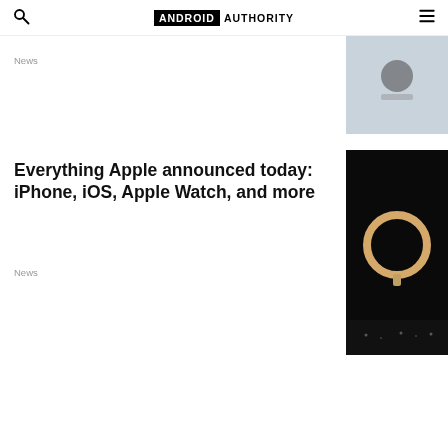ANDROID AUTHORITY
News
[Figure (photo): Partial product photo, light gray background with dark device]
Everything Apple announced today: iPhone, iOS, Apple Watch, and more
News
[Figure (photo): Dark background with illuminated circular ring (Apple product reveal)]